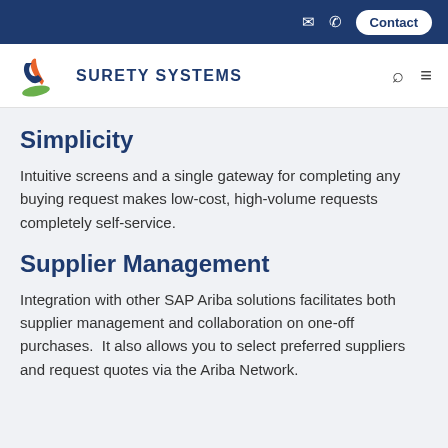Contact
[Figure (logo): Surety Systems logo with colorful hand/pen icon and text SURETY SYSTEMS]
Simplicity
Intuitive screens and a single gateway for completing any buying request makes low-cost, high-volume requests completely self-service.
Supplier Management
Integration with other SAP Ariba solutions facilitates both supplier management and collaboration on one-off purchases. It also allows you to select preferred suppliers and request quotes via the Ariba Network.